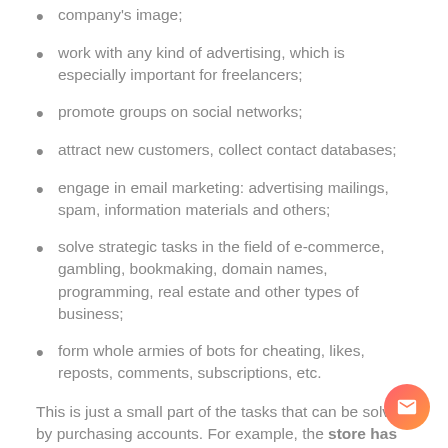company's image;
work with any kind of advertising, which is especially important for freelancers;
promote groups on social networks;
attract new customers, collect contact databases;
engage in email marketing: advertising mailings, spam, information materials and others;
solve strategic tasks in the field of e-commerce, gambling, bookmaking, domain names, programming, real estate and other types of business;
form whole armies of bots for cheating, likes, reposts, comments, subscriptions, etc.
This is just a small part of the tasks that can be solved by purchasing accounts. For example, the store has